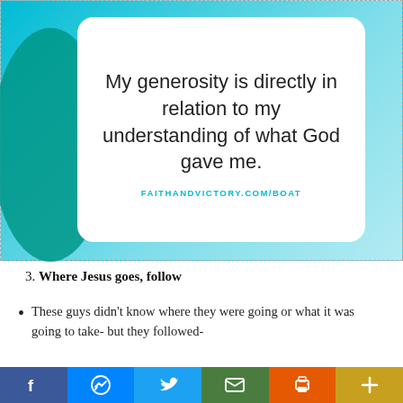[Figure (infographic): Teal/cyan gradient background with decorative teal circle on left and white rounded card containing quote text: 'My generosity is directly in relation to my understanding of what God gave me.' and URL FAITHANDVICTORY.COM/BOAT]
3. Where Jesus goes, follow
These guys didn't know where they were going or what it was going to take- but they followed-
[Figure (infographic): Social media share bar with Facebook, Messenger, Twitter, Email, Print, and Plus buttons]